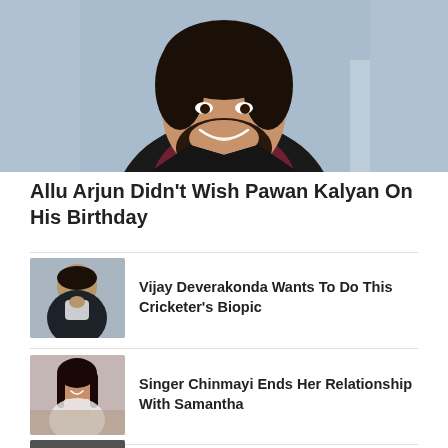[Figure (photo): Portrait photo of a smiling young man with beard wearing a dark jacket, hero image at top of news article page]
Allu Arjun Didn’t Wish Pawan Kalyan On His Birthday
[Figure (photo): Thumbnail photo of Vijay Deverakonda, young man in dark jacket]
Vijay Deverakonda Wants To Do This Cricketer’s Biopic
[Figure (photo): Thumbnail photo of Singer Chinmayi, a woman smiling]
Singer Chinmayi Ends Her Relationship With Samantha
[Figure (photo): Thumbnail photo partially visible at bottom, another news item]